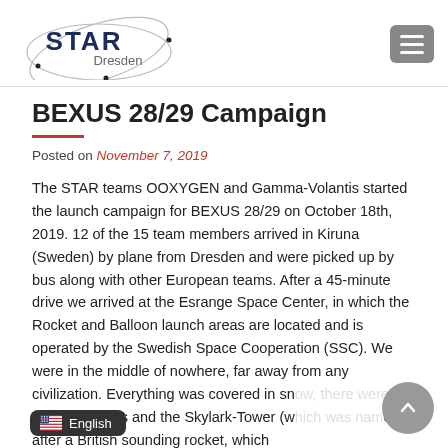STAR Dresden
BEXUS 28/29 Campaign
Posted on November 7, 2019
The STAR teams OOXYGEN and Gamma-Volantis started the launch campaign for BEXUS 28/29 on October 18th, 2019. 12 of the 15 team members arrived in Kiruna (Sweden) by plane from Dresden and were picked up by bus along with other European teams. After a 45-minute drive we arrived at the Esrange Space Center, in which the Rocket and Balloon launch areas are located and is operated by the Swedish Space Cooperation (SSC). We were in the middle of nowhere, far away from any civilization. Everything was covered in sn… ge antennas and the Skylark-Tower (w… ed after a British sounding rocket, which